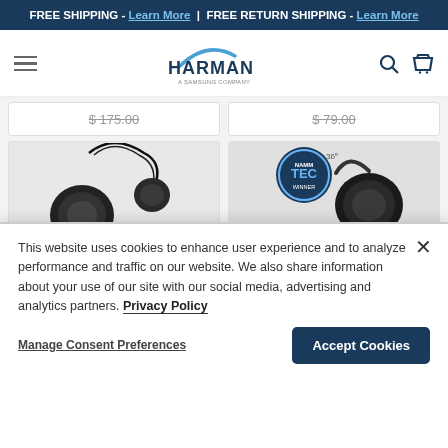FREE SHIPPING - Learn More | FREE RETURN SHIPPING - Learn More
[Figure (logo): Harman logo - a Samsung company]
$175.00 (strikethrough)   $79.00 (strikethrough)
[Figure (photo): Black over-ear headphones on left panel]
[Figure (photo): Black over-ear headphones with NAMM TEC Award badge on right panel]
This website uses cookies to enhance user experience and to analyze performance and traffic on our website. We also share information about your use of our site with our social media, advertising and analytics partners. Privacy Policy
Manage Consent Preferences
Accept Cookies